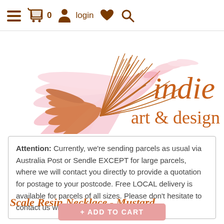≡  🛒 0  👤 login  ♥  🔍
[Figure (logo): Indie Art & Design logo with decorative floral/feather illustration in pink and orange-brown, with text 'indie art & design' in orange-brown on right side]
Attention: Currently, we're sending parcels as usual via Australia Post or Sendle EXCEPT for large parcels, where we will contact you directly to provide a quotation for postage to your postcode. Free LOCAL delivery is available for parcels of all sizes. Please don't hesitate to contact us with your questions!
Scale Resin Necklace - Mustard
+ ADD TO CART